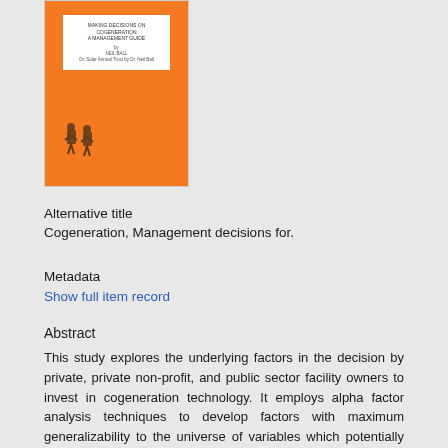[Figure (illustration): Orange book cover with white inset box containing title and author text, and small figure illustration at bottom left]
Alternative title
Cogeneration, Management decisions for.
Metadata
Show full item record
Abstract
This study explores the underlying factors in the decision by private, private non-profit, and public sector facility owners to invest in cogeneration technology. It employs alpha factor analysis techniques to develop factors with maximum generalizability to the universe of variables which potentially explain the decision to invest. Data for this study come from a survey of commercial, industrial, and institutional electric energy consumers who used more than 750 KW demand in any one month of 1981 for a selected electric utility in the Boston area. There were 129 usable responses to the survey(33.3 percent).